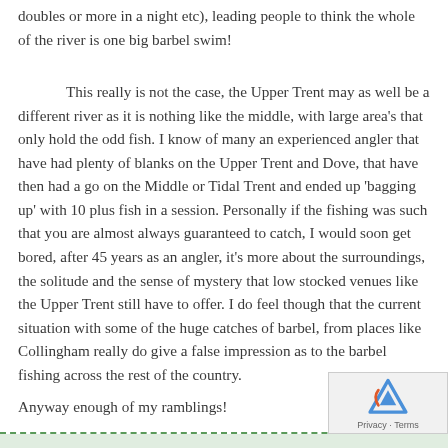doubles or more in a night etc), leading people to think the whole of the river is one big barbel swim!
This really is not the case, the Upper Trent may as well be a different river as it is nothing like the middle, with large area's that only hold the odd fish. I know of many an experienced angler that have had plenty of blanks on the Upper Trent and Dove, that have then had a go on the Middle or Tidal Trent and ended up 'bagging up' with 10 plus fish in a session. Personally if the fishing was such that you are almost always guaranteed to catch, I would soon get bored, after 45 years as an angler, it's more about the surroundings, the solitude and the sense of mystery that low stocked venues like the Upper Trent still have to offer. I do feel though that the current situation with some of the huge catches of barbel, from places like Collingham really do give a false impression as to the barbel fishing across the rest of the country.
Anyway enough of my ramblings!